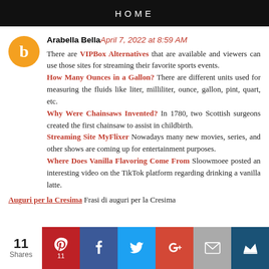HOME
Arabella Bella April 7, 2022 at 8:59 AM
There are VIPBox Alternatives that are available and viewers can use those sites for streaming their favorite sports events. How Many Ounces in a Gallon? There are different units used for measuring the fluids like liter, milliliter, ounce, gallon, pint, quart, etc. Why Were Chainsaws Invented? In 1780, two Scottish surgeons created the first chainsaw to assist in childbirth. Streaming Site MyFlixer Nowadays many new movies, series, and other shows are coming up for entertainment purposes. Where Does Vanilla Flavoring Come From Sloowmoee posted an interesting video on the TikTok platform regarding drinking a vanilla latte.
Auguri per la Cresima Frasi di auguri per la Cresima